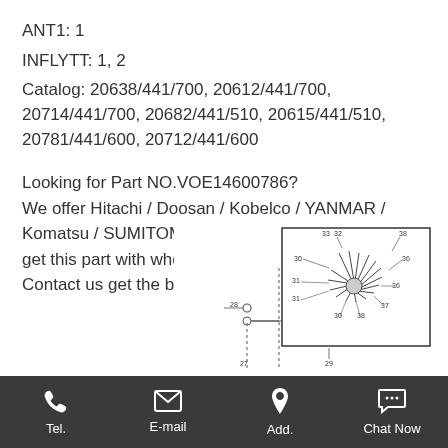ANT1: 1
INFLYTT: 1, 2
Catalog: 20638/441/700, 20612/441/700, 20714/441/700, 20682/441/510, 20615/441/510, 20781/441/600, 20712/441/600
Looking for Part NO.VOE14600786? We offer Hitachi / Doosan / Kobelco / YANMAR / Komatsu / SUMITOMO aftermarket parts. You can get this part with wholesale price start from 1 pcs. Contact us get the best price.
[Figure (engineering-diagram): Technical parts diagram showing numbered components with reference lines, partial view of an assembly with part numbers 27-38 visible]
Tel.  E-mail  Add.  Chat Now